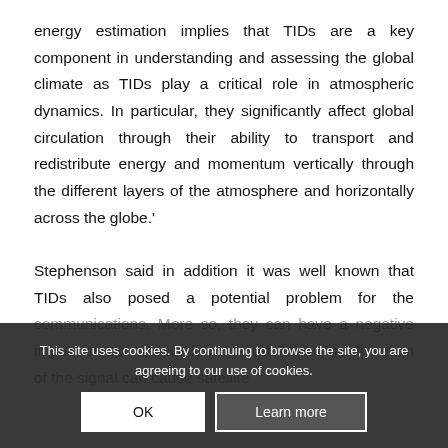energy estimation implies that TIDs are a key component in understanding and assessing the global climate as TIDs play a critical role in atmospheric dynamics. In particular, they significantly affect global circulation through their ability to transport and redistribute energy and momentum vertically through the different layers of the atmosphere and horizontally across the globe.'

Stephenson said in addition it was well known that TIDs also posed a potential problem for the communications. More so, they can have a negative impact on communication with satellites. The distortion of the signal can cause satellite
This site uses cookies. By continuing to browse the site, you are agreeing to our use of cookies.